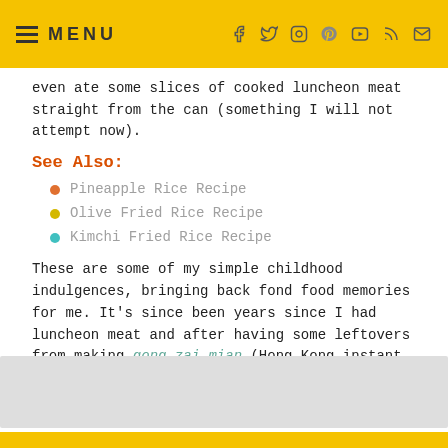MENU
even ate some slices of cooked luncheon meat straight from the can (something I will not attempt now).
See Also:
Pineapple Rice Recipe
Olive Fried Rice Recipe
Kimchi Fried Rice Recipe
These are some of my simple childhood indulgences, bringing back fond food memories for me. It's since been years since I had luncheon meat and after having some leftovers from making gong zai mian (Hong Kong instant noodles), I thought of making this fast and delicious luncheon meat fried rice, another of my favourite mum's recipes.
[Figure (photo): Gray image placeholder at the bottom of the page]